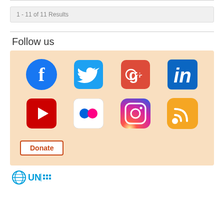1 - 11 of 11 Results
Follow us
[Figure (other): Social media icons panel with Facebook, Twitter, Google+, LinkedIn, YouTube, Flickr, Instagram, RSS icons and a Donate button on a light orange background]
[Figure (logo): UN logo partial at bottom]